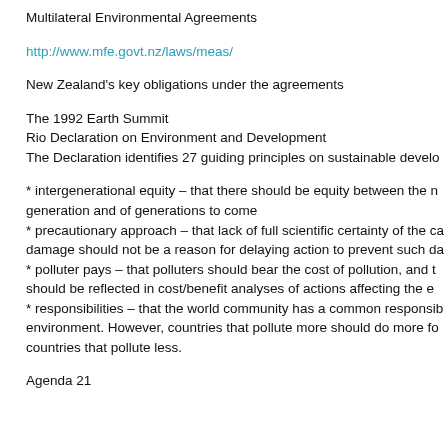Multilateral Environmental Agreements
http://www.mfe.govt.nz/laws/meas/
New Zealand's key obligations under the agreements
The 1992 Earth Summit
Rio Declaration on Environment and Development
The Declaration identifies 27 guiding principles on sustainable develo
* intergenerational equity – that there should be equity between the n generation and of generations to come
* precautionary approach – that lack of full scientific certainty of the ca damage should not be a reason for delaying action to prevent such da
* polluter pays – that polluters should bear the cost of pollution, and t should be reflected in cost/benefit analyses of actions affecting the e
* responsibilities – that the world community has a common responsib environment. However, countries that pollute more should do more fo countries that pollute less.
Agenda 21